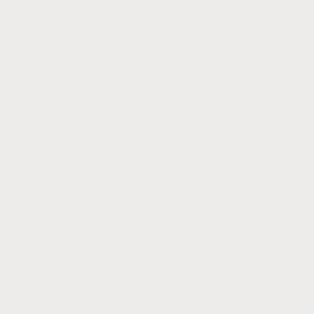afforded a view of the open ocean, and plenty of opportunities for physical exercise for the two or three weeks of a trip.
Your 21st Century Interplanetary Ship can have multiple decks.
If you create the deck as shown in the model as a residential space, and if